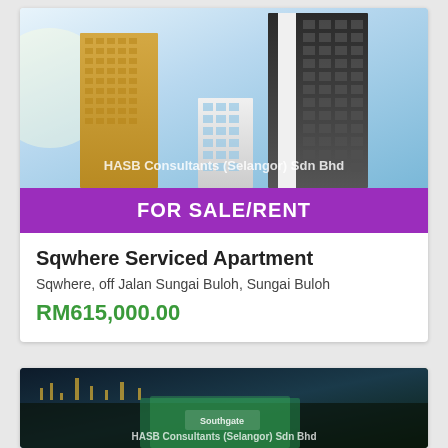[Figure (photo): Rendering of Sqwhere Serviced Apartment high-rise towers against a blue sky, with watermark text 'HASB Consultants (Selangor) Sdn Bhd']
FOR SALE/RENT
Sqwhere Serviced Apartment
Sqwhere, off Jalan Sungai Buloh, Sungai Buloh
RM615,000.00
[Figure (photo): Aerial rendering of Southgate commercial/retail development at night, with watermark text 'HASB Consultants (Selangor) Sdn Bhd']